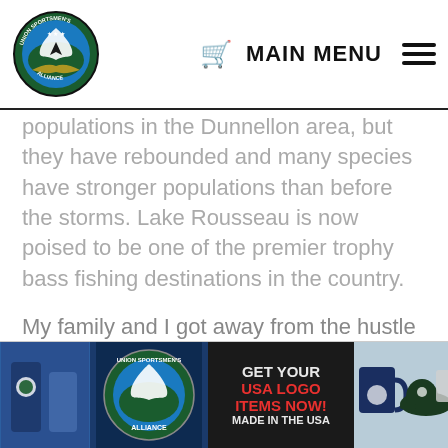MAIN MENU
populations in the Dunnellon area, but they have rebounded and many species have stronger populations than before the storms. Lake Rousseau is now poised to be one of the premier trophy bass fishing destinations in the country.
My family and I got away from the hustle and bustle back home by spending a Valentine's weekend at Angler's Resort. With a tackle shop, restaurant and tiki bar (The Blue Gator), pontoon boat tours, airboat rides, and canoe and boat rentals, there is no need to leave.
[Figure (infographic): Union Sportsmen's Alliance banner advertisement: GET YOUR USA LOGO ITEMS NOW! MADE IN THE USA, with logo, mug, cap, and t-shirt product images.]